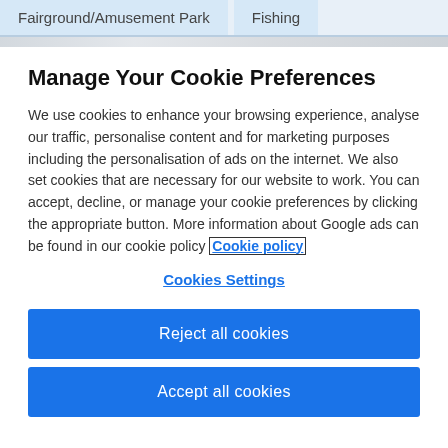Fairground/Amusement Park   Fishing
Manage Your Cookie Preferences
We use cookies to enhance your browsing experience, analyse our traffic, personalise content and for marketing purposes including the personalisation of ads on the internet. We also set cookies that are necessary for our website to work. You can accept, decline, or manage your cookie preferences by clicking the appropriate button. More information about Google ads can be found in our cookie policy Cookie policy
Cookies Settings
Reject all cookies
Accept all cookies